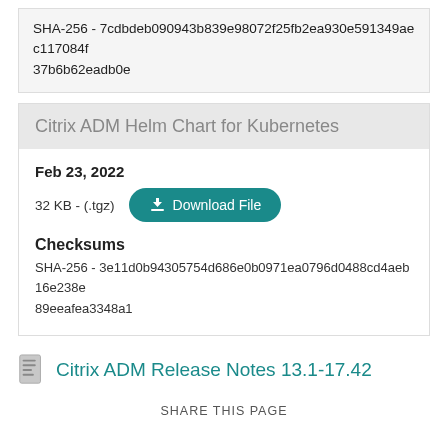SHA-256 - 7cdbdeb090943b839e98072f25fb2ea930e591349aec117084f37b6b62eadb0e
Citrix ADM Helm Chart for Kubernetes
Feb 23, 2022
32 KB - (.tgz)
Download File
Checksums
SHA-256 - 3e11d0b94305754d686e0b0971ea0796d0488cd4aeb16e238e89eeafea3348a1
Citrix ADM Release Notes 13.1-17.42
SHARE THIS PAGE